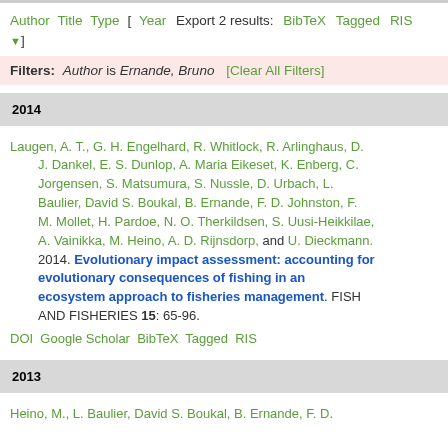Author Title Type [ Year Export 2 results: BibTeX Tagged RIS ▼ ]
Filters: Author is Ernande, Bruno [Clear All Filters]
2014
Laugen, A. T., G. H. Engelhard, R. Whitlock, R. Arlinghaus, D. J. Dankel, E. S. Dunlop, A. Maria Eikeset, K. Enberg, C. Jorgensen, S. Matsumura, S. Nussle, D. Urbach, L. Baulier, David S. Boukal, B. Ernande, F. D. Johnston, F. M. Mollet, H. Pardoe, N. O. Therkildsen, S. Uusi-Heikkilae, A. Vainikka, M. Heino, A. D. Rijnsdorp, and U. Dieckmann. 2014. Evolutionary impact assessment: accounting for evolutionary consequences of fishing in an ecosystem approach to fisheries management. FISH AND FISHERIES 15: 65-96.
DOI Google Scholar BibTeX Tagged RIS
2013
Heino, M., L. Baulier, David S. Boukal, B. Ernande, F. D.